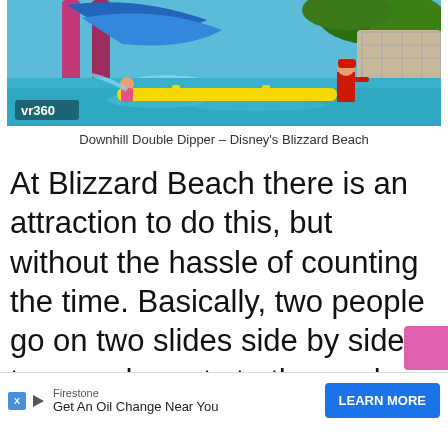[Figure (photo): Water park photo showing the Downhill Double Dipper attraction at Disney's Blizzard Beach. Shows two water slides (pink and blue), a yellow lane divider boom in a turquoise pool, and a lifeguard in red standing in the water. A 'vr360' badge appears in the bottom left corner of the image.]
Downhill Double Dipper – Disney's Blizzard Beach
At Blizzard Beach there is an attraction to do this, but without the hassle of counting the time. Basically, two people go on two slides side by side to see who gets to the pool first.